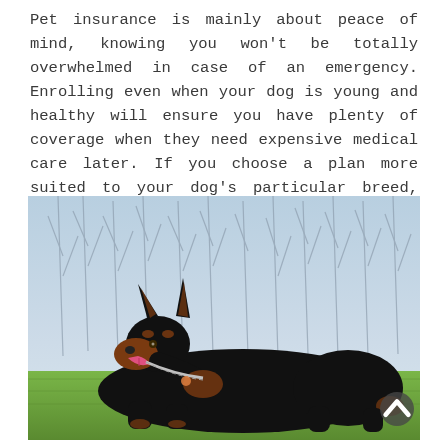Pet insurance is mainly about peace of mind, knowing you won't be totally overwhelmed in case of an emergency. Enrolling even when your dog is young and healthy will ensure you have plenty of coverage when they need expensive medical care later. If you choose a plan more suited to your dog's particular breed, you'll be more prepared when something happens later on in their life.
[Figure (photo): A black and tan Doberman Pinscher dog lying on green grass outdoors, facing right with mouth open, wearing a chain collar, with bare trees in the background.]